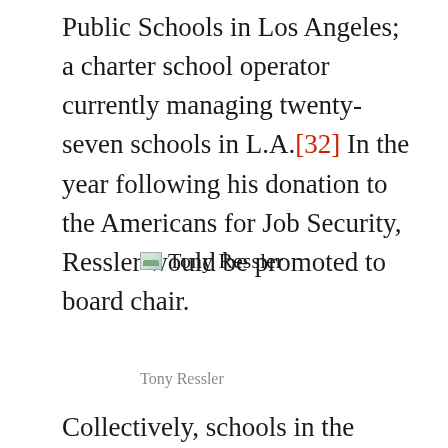Public Schools in Los Angeles; a charter school operator currently managing twenty-seven schools in L.A.[32] In the year following his donation to the Americans for Job Security, Ressler would be promoted to board chair.
[Figure (photo): Broken image placeholder for Tony Ressler with alt text 'Tony Ressler']
Tony Ressler
Collectively, schools in the Alliance for College